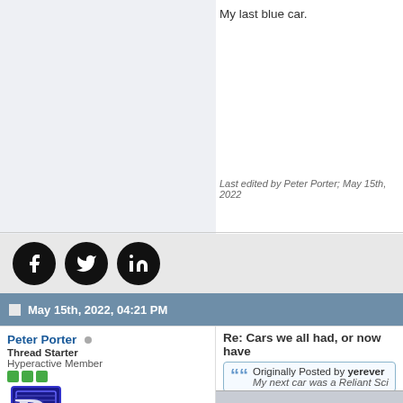My last blue car.
Last edited by Peter Porter; May 15th, 2022
[Figure (illustration): Social media share icons: Facebook, Twitter, LinkedIn (black circles with white logos)]
May 15th, 2022, 04:21 PM
Peter Porter
Thread Starter
Hyperactive Member
[Figure (logo): Letter P logo in blue with stripes, forum avatar]
| Join Date: | Jul 2013 |
| --- | --- |
| Posts: | 446 |
Re: Cars we all had, or now have
Originally Posted by yerever
My next car was a Reliant Sci
Love the look of the Scimitar! Are thes
Looking at your cars, none of mine ha
I almost brought a BMW E24 635CSi pay more for it.